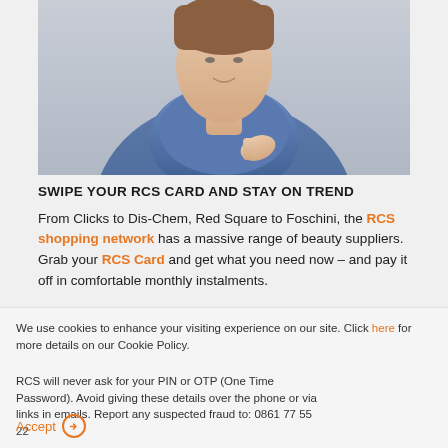[Figure (photo): Fashion photo of a person wearing a blue turtleneck/cowl neck top, adjusting the neckline with one hand. Background is light gray.]
SWIPE YOUR RCS CARD AND STAY ON TREND
From Clicks to Dis-Chem, Red Square to Foschini, the RCS shopping network has a massive range of beauty suppliers. Grab your RCS Card and get what you need now – and pay it off in comfortable monthly instalments.
We use cookies to enhance your visiting experience on our site. Click here for more details on our Cookie Policy.
RCS will never ask for your PIN or OTP (One Time Password). Avoid giving these details over the phone or via links in emails. Report any suspected fraud to: 0861 77 55 22
Accept